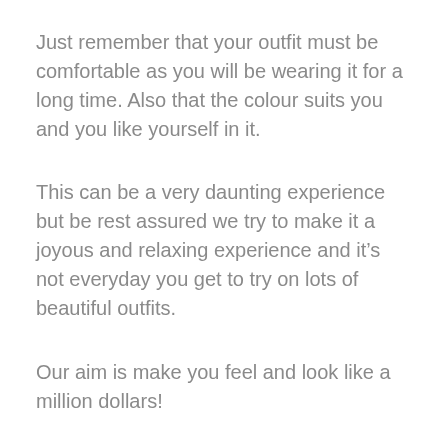Just remember that your outfit must be comfortable as you will be wearing it for a long time.  Also that the colour suits you and you like yourself in it.
This can be a very daunting experience but be rest assured we try to make it a joyous and relaxing experience and it's not everyday you get to try on lots of beautiful outfits.
Our aim is make you feel and look like a million dollars!